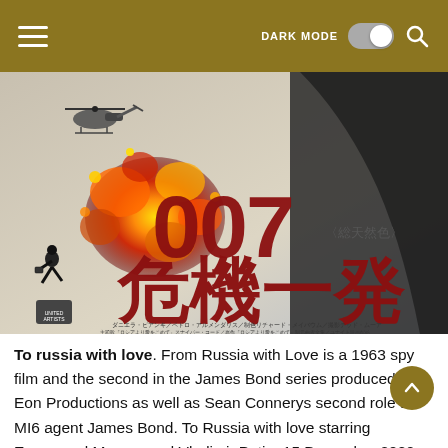DARK MODE [toggle] [search]
[Figure (photo): Japanese movie poster for 007 'From Russia with Love' (危機一発) showing 007 title in large red kanji characters, an explosion with a helicopter, a running figure, and a man in dark clothing. Japanese text credits at the bottom of the poster.]
To russia with love. From Russia with Love is a 1963 spy film and the second in the James Bond series produced by Eon Productions as well as Sean Connerys second role as MI6 agent James Bond. To Russia with love starring Emmanuel Macron and Vladimir Putin. 15 December 2020 Trinity